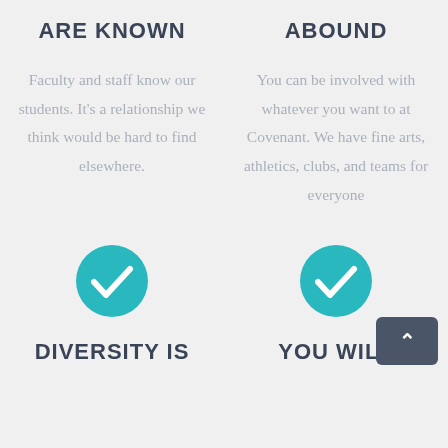ARE KNOWN
ABOUND
Faculty and staff know our students. It's a relationship we think would be hard to find elsewhere.
You can be involved with whatever you want to at Covenant. We have fine arts, athletics, clubs, and teams for everyone
[Figure (illustration): Teal circle with white checkmark icon]
[Figure (illustration): Teal circle with white checkmark icon]
DIVERSITY IS
YOU WILL